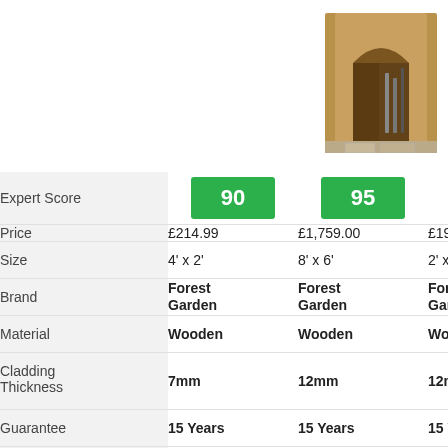[Figure (photo): Garden shed photo 1 - tall narrow wooden shed with open door]
[Figure (photo): Garden shed photo 2 - small wooden shed with lean-to roof]
[Figure (photo): Garden shed photo 3 - partial view of wooden shed]
|  | Product 1 | Product 2 | Product 3 |
| --- | --- | --- | --- |
| Expert Score | 90 | 95 | 10... |
| Price | £214.99 | £1,759.00 | £199.5... |
| Size | 4' x 2' | 8' x 6' | 2' x 2... |
| Brand | Forest Garden | Forest Garden | Forest Garde... |
| Material | Wooden | Wooden | Wood... |
| Cladding Thickness | 7mm | 12mm | 12mm... |
| Guarantee | 15 Years | 15 Years | 15 Yea... |